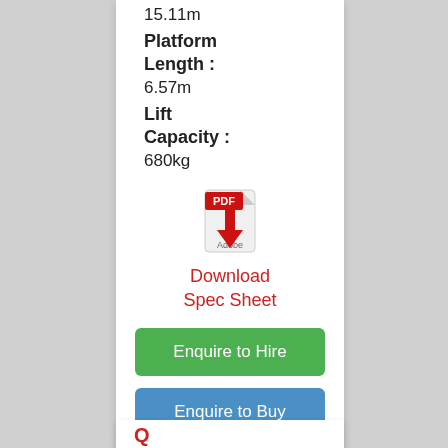15.11m
Platform Length : 6.57m
Lift Capacity : 680kg
[Figure (illustration): Adobe PDF icon with red download arrow and 'PDF' label]
Download Spec Sheet
Enquire to Hire
Enquire to Buy